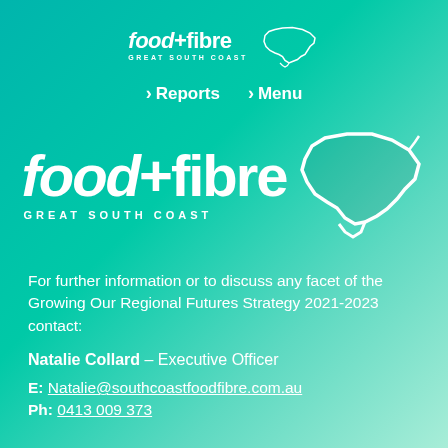[Figure (logo): food+fibre Great South Coast logo small with Victoria map outline]
> Reports  > Menu
[Figure (logo): food+fibre Great South Coast logo large with Victoria map outline]
For further information or to discuss any facet of the Growing Our Regional Futures Strategy 2021-2023 contact:
Natalie Collard – Executive Officer
E: Natalie@southcoastfoodfibre.com.au
Ph: 0413 009 373